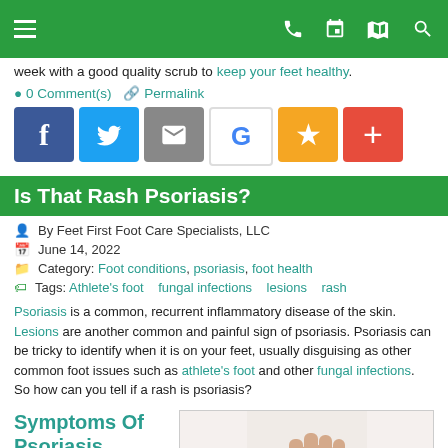Navigation bar with hamburger menu and icons
week with a good quality scrub to keep your feet healthy.
0 Comment(s)  Permalink
[Figure (infographic): Social sharing buttons: Facebook, Twitter, Email, Google, Favorite (star), More (+)]
Is That Rash Psoriasis?
By Feet First Foot Care Specialists, LLC
June 14, 2022
Category: Foot conditions, psoriasis, foot health
Tags: Athlete's foot   fungal infections   lesions   rash
Psoriasis is a common, recurrent inflammatory disease of the skin. Lesions are another common and painful sign of psoriasis. Psoriasis can be tricky to identify when it is on your feet, usually disguising as other common foot issues such as athlete's foot and other fungal infections. So how can you tell if a rash is psoriasis?
Symptoms Of Psoriasis
[Figure (photo): Photo of a hand/fist showing skin condition]